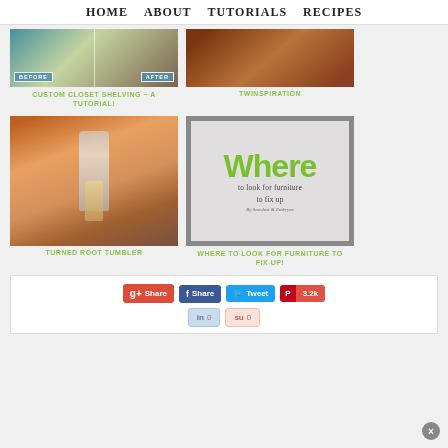HOME  ABOUT  TUTORIALS  RECIPES
[Figure (photo): Before and after photo of custom closet shelving]
CUSTOM CLOSET SHELVING ~ A TUTORIAL!
[Figure (photo): Twinspiration photo — wood floor / furniture]
TWINSPIRATION
[Figure (photo): Hands holding a turned root tumbler (wooden handle, steel cup)]
TURNED ROOT TUMBLER
[Figure (illustration): Where to look for furniture to fix up — graphic with green Where text]
WHERE TO LOOK FOR FURNITURE TO FIX UP!
[Figure (infographic): Social sharing buttons: Google+ Share, Facebook Share, Twitter Tweet, Pinterest 3.2k, LinkedIn 0, StumbleUpon 0]